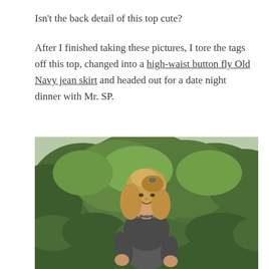Isn't the back detail of this top cute?
After I finished taking these pictures, I tore the tags off this top, changed into a high-waist button fly Old Navy jean skirt and headed out for a date night dinner with Mr. SP.
[Figure (photo): Woman with blonde shoulder-length hair wearing a dark grey/charcoal top, posing outdoors with green trees in the background, looking over her shoulder at the camera.]